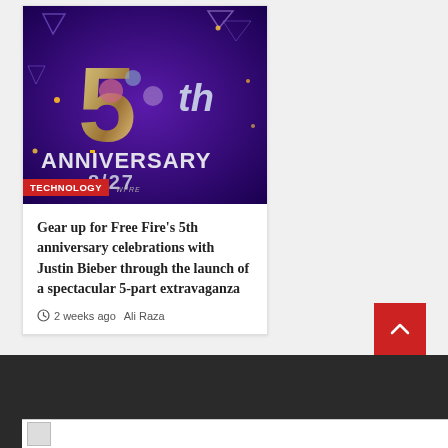[Figure (illustration): Free Fire 5th Anniversary promotional image with large glowing '5th' text and 'ANNIVERSARY 8/27' text on a purple background with geometric shapes]
TECHNOLOGY
Gear up for Free Fire's 5th anniversary celebrations with Justin Bieber through the launch of a spectacular 5-part extravaganza
2 weeks ago  Ali Raza